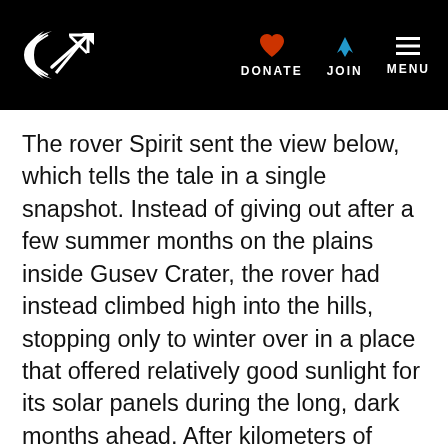DONATE JOIN MENU
The rover Spirit sent the view below, which tells the tale in a single snapshot. Instead of giving out after a few summer months on the plains inside Gusev Crater, the rover had instead climbed high into the hills, stopping only to winter over in a place that offered relatively good sunlight for its solar panels during the long, dark months ahead. After kilometers of travel, its wheels had begun to freeze up, so it had been driving backward, uphill, dragging one of its wheels through the dirt. Wasting no chance to explore,